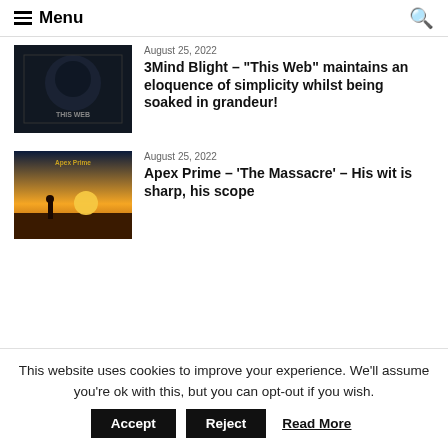Menu
August 25, 2022
3Mind Blight – “This Web” maintains an eloquence of simplicity whilst being soaked in grandeur!
[Figure (photo): Album cover for 3Mind Blight - This Web, dark background with band imagery]
August 25, 2022
Apex Prime – ‘The Massacre’ – His wit is sharp, his scope
[Figure (photo): Album cover for Apex Prime, silhouette of person against sunset sky with gold text 'Apex Prime']
This website uses cookies to improve your experience. We'll assume you're ok with this, but you can opt-out if you wish.